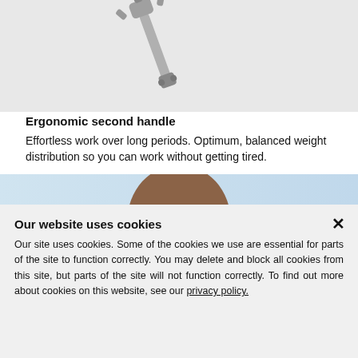[Figure (photo): A metal ergonomic tool handle / wrench mechanism shown against a light grey background, cropped at the top of the page.]
Ergonomic second handle
Effortless work over long periods. Optimum, balanced weight distribution so you can work without getting tired.
[Figure (photo): A man wearing a dark polo shirt and a grey/black harness/backpack strap system, photographed from the chest up against a light blue-grey background.]
Our website uses cookies
Our site uses cookies. Some of the cookies we use are essential for parts of the site to function correctly. You may delete and block all cookies from this site, but parts of the site will not function correctly. To find out more about cookies on this website, see our privacy policy.